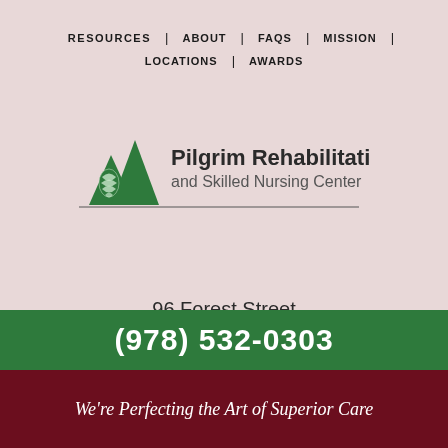RESOURCES | ABOUT | FAQS | MISSION | LOCATIONS | AWARDS
[Figure (logo): Pilgrim Rehabilitation and Skilled Nursing Center logo with green mountain/pinecone triangle graphic and text]
96 Forest Street
Peabody, MA 01960
PRIVACY POLICY
[Figure (illustration): Facebook and YouTube social media icons]
(978) 532-0303
We're Perfecting the Art of Superior Care